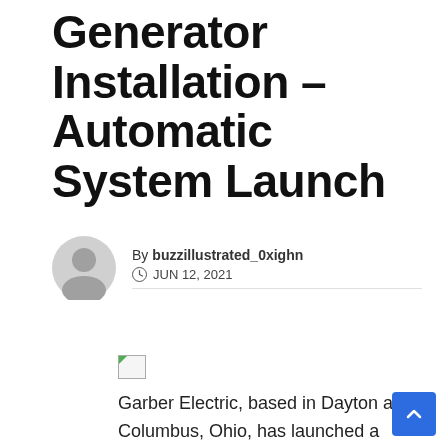Generator Installation – Automatic System Launch
By buzzillustrated_0xighn
JUN 12, 2021
[Figure (photo): Broken image placeholder icon]
Garber Electric, based in Dayton and Columbus, Ohio, has launched a range of low-noise, eco-friendly, fully automatic, whole